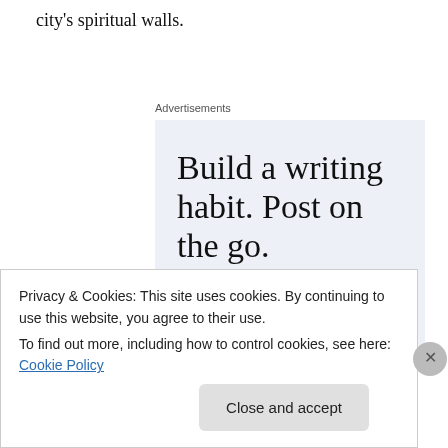city's spiritual walls.
Advertisements
[Figure (screenshot): WordPress advertisement: 'Build a writing habit. Post on the go.' with GET THE APP call-to-action and WordPress logo]
Privacy & Cookies: This site uses cookies. By continuing to use this website, you agree to their use.
To find out more, including how to control cookies, see here: Cookie Policy
Close and accept